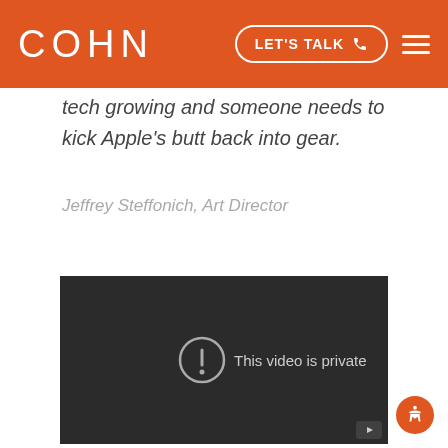COHN | LET'S TALK
tech growing and someone needs to kick Apple's butt back into gear.
Jeffrey Steffonich, Art Director
[Figure (screenshot): Video player showing 'This video is private' message on dark background with YouTube logo in bottom right corner]